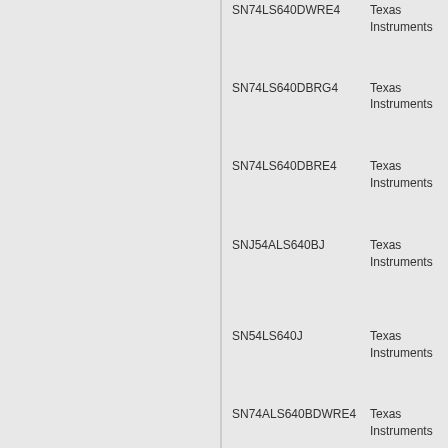| Part Number | Manufacturer |
| --- | --- |
| SN74LS640DWRE4 | Texas Instruments |
| SN74LS640DBRG4 | Texas Instruments |
| SN74LS640DBRE4 | Texas Instruments |
| SNJ54ALS640BJ | Texas Instruments |
| SN54LS640J | Texas Instruments |
| SN74ALS640BDWRE4 | Texas Instruments |
| SN74ALS640B-1DWR | Texas |